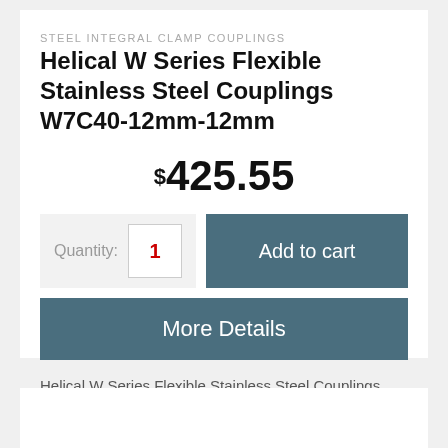STEEL INTEGRAL CLAMP COUPLINGS
Helical W Series Flexible Stainless Steel Couplings W7C40-12mm-12mm
$425.55
Quantity: 1
Add to cart
More Details
Helical W Series Flexible Stainless Steel Couplings. Outside Diameter: 40mm Length: 50mm Major Bore Diameter: 12mm Minor Bore Diameter: 12mm Momentary...